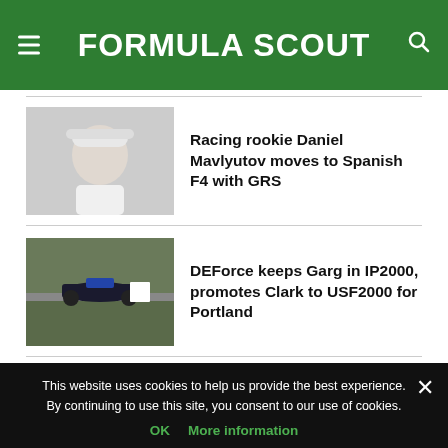FORMULA SCOUT
[Figure (photo): Young man wearing a white baseball cap, portrait photo]
Racing rookie Daniel Mavlyutov moves to Spanish F4 with GRS
[Figure (photo): Dark-colored formula racing car on a circuit track]
DEForce keeps Garg in IP2000, promotes Clark to USF2000 for Portland
[Figure (photo): Racing pit lane or circuit scene]
Nielsen commits to second year in Danish
This website uses cookies to help us provide the best experience. By continuing to use this site, you consent to our use of cookies.
OK  More information